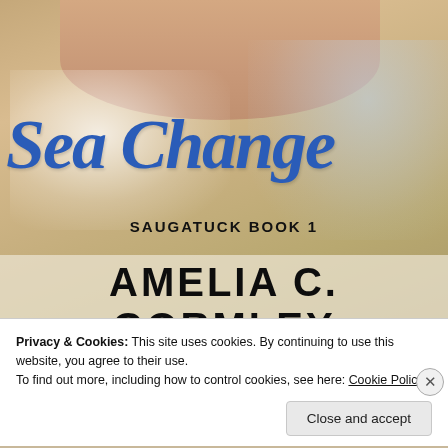[Figure (illustration): Book cover for 'Sea Change, Saugatuck Book 1' by Amelia C. Gormley. Shows a close-up of a person's neck and chest with water splashes, with the title in large blue cursive script and the author's name in large black bold sans-serif at the bottom.]
Privacy & Cookies: This site uses cookies. By continuing to use this website, you agree to their use.
To find out more, including how to control cookies, see here: Cookie Policy
Close and accept